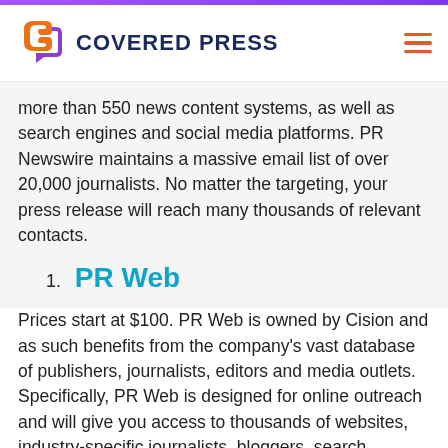[Figure (logo): Covered Press logo with stylized C and P icon in orange and purple, beside bold dark blue text COVERED PRESS]
more than 550 news content systems, as well as search engines and social media platforms. PR Newswire maintains a massive email list of over 20,000 journalists. No matter the targeting, your press release will reach many thousands of relevant contacts.
1. PR Web
Prices start at $100. PR Web is owned by Cision and as such benefits from the company's vast database of publishers, journalists, editors and media outlets. Specifically, PR Web is designed for online outreach and will give you access to thousands of websites, industry-specific journalists, bloggers, search engines and across social media networks.